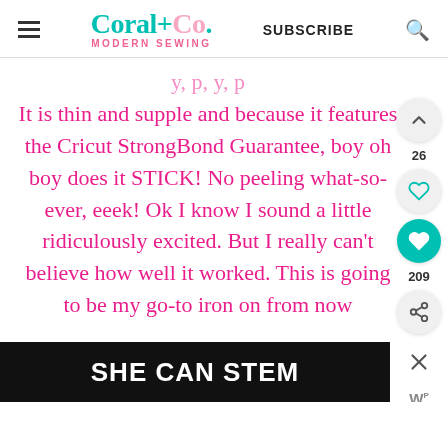Coral+Co. MODERN SEWING | SUBSCRIBE
It is thin and supple and because it features the Cricut StrongBond Guarantee, boy oh boy does it STICK! No peeling what-so-ever, eeek! Ok I know I sound a little ridiculously excited. But I really can't believe how well it worked. This is going to be my go-to iron on from now
[Figure (screenshot): SHE CAN STEM advertisement banner - dark background with bold white text]